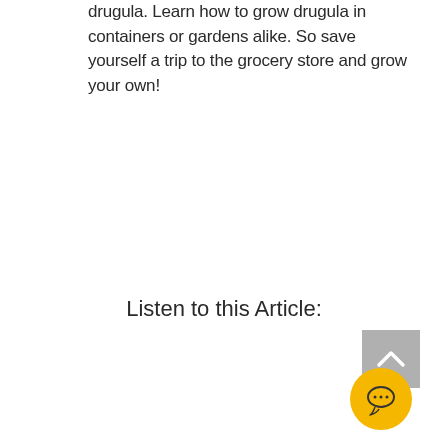drugula. Learn how to grow drugula in containers or gardens alike. So save yourself a trip to the grocery store and grow your own!
Listen to this Article:
[Figure (other): Back to top button — grey square with upward chevron arrow]
[Figure (other): Yellow circular chat bubble button with three dots]